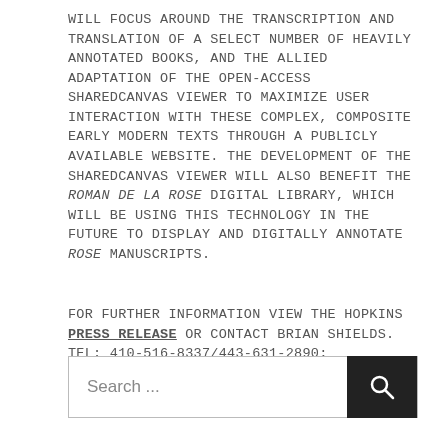WILL FOCUS AROUND THE TRANSCRIPTION AND TRANSLATION OF A SELECT NUMBER OF HEAVILY ANNOTATED BOOKS, AND THE ALLIED ADAPTATION OF THE OPEN-ACCESS SHAREDCANVAS VIEWER TO MAXIMIZE USER INTERACTION WITH THESE COMPLEX, COMPOSITE EARLY MODERN TEXTS THROUGH A PUBLICLY AVAILABLE WEBSITE. THE DEVELOPMENT OF THE SHAREDCANVAS VIEWER WILL ALSO BENEFIT THE ROMAN DE LA ROSE DIGITAL LIBRARY, WHICH WILL BE USING THIS TECHNOLOGY IN THE FUTURE TO DISPLAY AND DIGITALLY ANNOTATE ROSE MANUSCRIPTS.
FOR FURTHER INFORMATION VIEW THE HOPKINS PRESS RELEASE OR CONTACT BRIAN SHIELDS. TEL: 410-516-8337/443-631-2890; EMAIL: BSHIELDS@JHU.EDU.